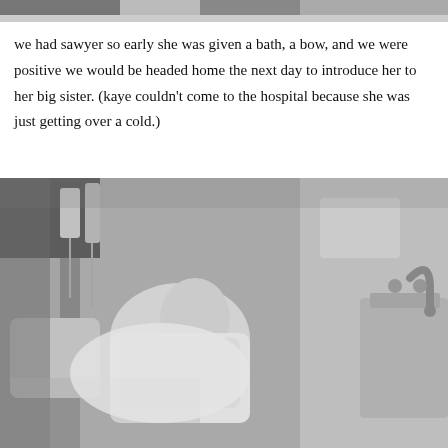[Figure (photo): Partial black and white photo at top of page, cropped — appears to show people in a hospital or medical setting]
we had sawyer so early she was given a bath, a bow, and we were positive we would be headed home the next day to introduce her to her big sister. (kaye couldn't come to the hospital because she was just getting over a cold.)
[Figure (photo): Black and white photograph of a newborn baby being given a bath at a hospital sink. A person's hands are visible holding the infant. Medical equipment including IV bags are visible in the background. A stainless steel sink with faucet is visible on the right.]